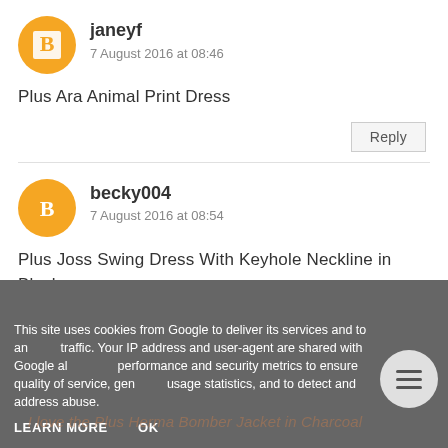janeyf
7 August 2016 at 08:46
Plus Ara Animal Print Dress
Reply
becky004
7 August 2016 at 08:54
Plus Joss Swing Dress With Keyhole Neckline in Black
Reply
This site uses cookies from Google to deliver its services and to analyze traffic. Your IP address and user-agent are shared with Google along with performance and security metrics to ensure quality of service, generate usage statistics, and to detect and address abuse.
LEARN MORE
OK
I love the Plus Herma Bomber Jacket in Charcoal